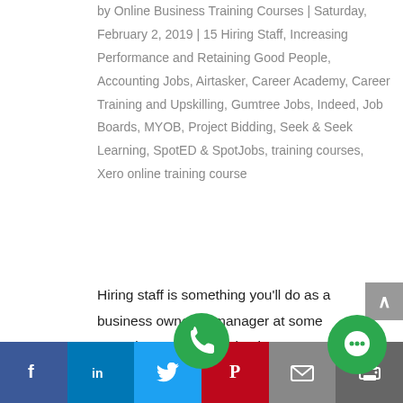by Online Business Training Courses | Saturday, February 2, 2019 | 15 Hiring Staff, Increasing Performance and Retaining Good People, Accounting Jobs, Airtasker, Career Academy, Career Training and Upskilling, Gumtree Jobs, Indeed, Job Boards, MYOB, Project Bidding, Seek & Seek Learning, SpotED & SpotJobs, training courses, Xero online training course
Hiring staff is something you'll do as a business owner or manager at some stage in operating the business. In medium sized businesses the hiring and firing is performed by a dedicated
Facebook | LinkedIn | Twitter | Pinterest | Email | Print